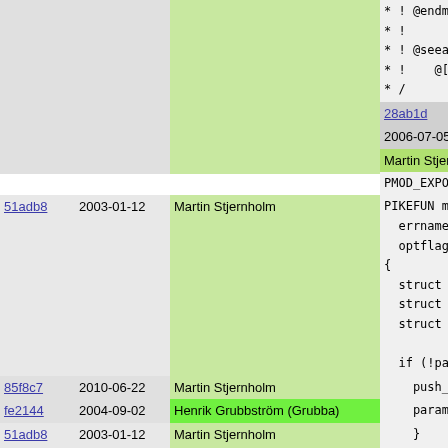| hash | date | author | code |
| --- | --- | --- | --- |
|  |  |  | * ! @endmapp
* !
* ! @seealso
* !   @[gc].
* / |
| 28ab1d | 2006-07-05 | Martin Stjernholm | PMOD_EXPORT |
| 51adb8 | 2003-01-12 | Martin Stjernholm | PIKEFUN mapp
  errname Pi
  optflags O
{
  struct pil
  struct sva
  struct sva

  if (!param |
| 85f8c7 | 2010-06-22 | Martin Stjernholm | push_map |
| fe2144 | 2004-09-02 | Henrik Grubbström (Grubba) | params = |
| 51adb8 | 2003-01-12 | Martin Stjernholm | }

#define HAND |
| de56ec | 2003-02-08 | Martin Stjernholm | MAKE_CON |
| fe2144 | 2004-09-02 | Henrik Grubbström (Grubba) | if ((set |
| 51adb8 | 2003-01-12 | Martin Stjernholm | CHECK_
}
else { |